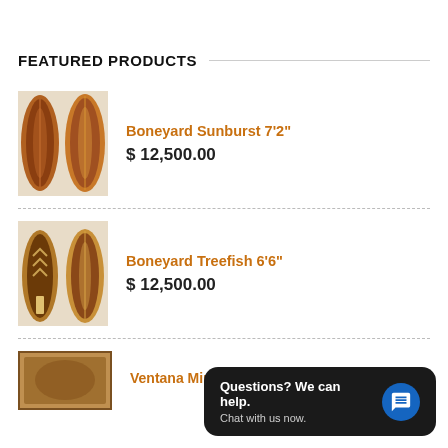FEATURED PRODUCTS
[Figure (photo): Two wooden surfboards (Boneyard Sunburst 7'2") shown side by side on a rocky beach background]
Boneyard Sunburst 7'2"
$ 12,500.00
[Figure (photo): Two wooden Treefish surfboards (Boneyard Treefish 6'6") with chevron design shown side by side]
Boneyard Treefish 6'6"
$ 12,500.00
[Figure (photo): Ventana Mini Surfboards product thumbnail]
Ventana Mini Surfboards
Questions? We can help.
Chat with us now.